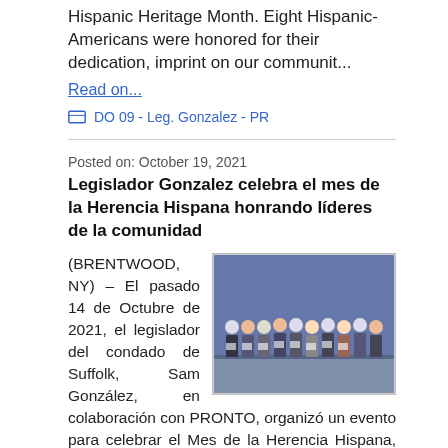Hispanic Heritage Month. Eight Hispanic-Americans were honored for their dedication, imprint on our communit...
Read on...
DO 09 - Leg. Gonzalez - PR
Posted on: October 19, 2021
Legislador Gonzalez celebra el mes de la Herencia Hispana honrando líderes de la comunidad
(BRENTWOOD, NY) – El pasado 14 de Octubre de 2021, el legislador del condado de Suffolk, Sam González, en colaboración con PRONTO, organizó un evento para celebrar el Mes de la Herencia Hispana, ocho l&a...
[Figure (photo): Group photo of people at an event, holding certificates or awards, indoors.]
Read on...
DO 09 - Leg. Gonzalez - PR
Posted on: September 15, 2021